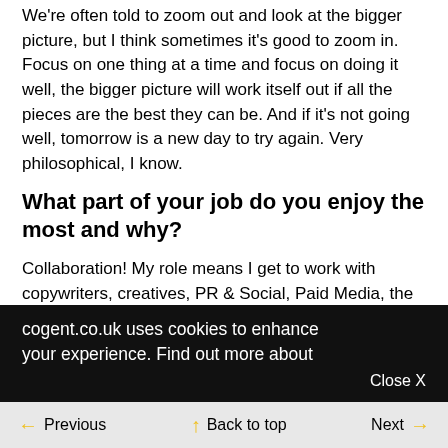We're often told to zoom out and look at the bigger picture, but I think sometimes it's good to zoom in. Focus on one thing at a time and focus on doing it well, the bigger picture will work itself out if all the pieces are the best they can be. And if it's not going well, tomorrow is a new day to try again. Very philosophical, I know.
What part of your job do you enjoy the most and why?
Collaboration! My role means I get to work with copywriters, creatives, PR & Social, Paid Media, the list goes on. It's always interesting working
cogent.co.uk uses cookies to enhance your experience. Find out more about
Previous  Back to top  Next